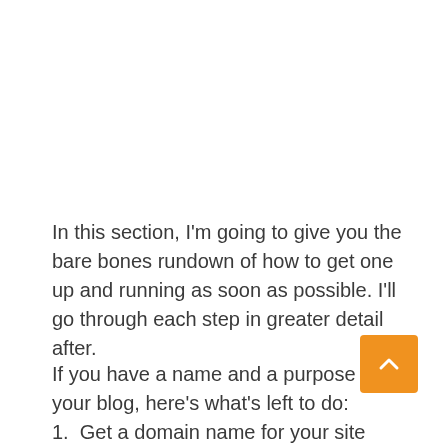In this section, I'm going to give you the bare bones rundown of how to get one up and running as soon as possible. I'll go through each step in greater detail after.
If you have a name and a purpose for your blog, here's what's left to do:
1. Get a domain name for your site